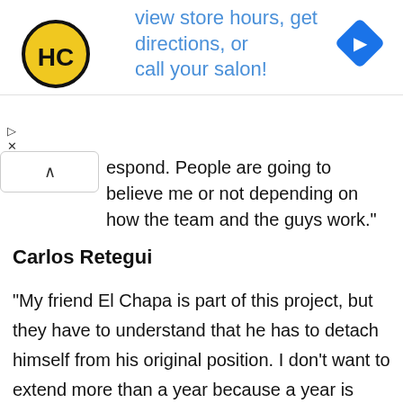[Figure (screenshot): App or website UI banner: HC logo (black circle with HC letters in yellow), text 'view store hours, get directions, or call your salon!' in blue, and a blue diamond navigation icon on the right]
respond. People are going to believe me or not depending on how the team and the guys work.”
Carlos Retegui
“My friend El Chapa is part of this project, but they have to understand that he has to detach himself from his original position. I don’t want to extend more than a year because a year is good for the project we are carrying out. I come here to add from sports. I think it’s fair that we sign for a year. Later we will see if we continue,